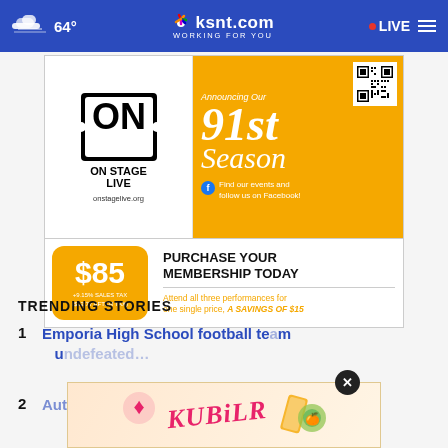64° ksnt.com WORKING FOR YOU LIVE
[Figure (advertisement): On Stage Live advertisement announcing 91st Season. Logo on left, orange background on right with '91st Season' in large italic text. QR code in top right. Bottom section shows $85 membership price (+9.15% sales tax, $92.77 after tax) and 'PURCHASE YOUR MEMBERSHIP TODAY - Attend all three performances for one single price, A SAVINGS OF $15'. Website: onstagelive.org. Find events on Facebook.]
TRENDING STORIES
1 Emporia High School football team un...
2 Authorities find missing girl, still
[Figure (advertisement): Kubilr advertisement overlay at bottom of page with close button (X). Pink/orange illustrated style with 'KUBILR' text in cursive pink letters and illustrated food items.]